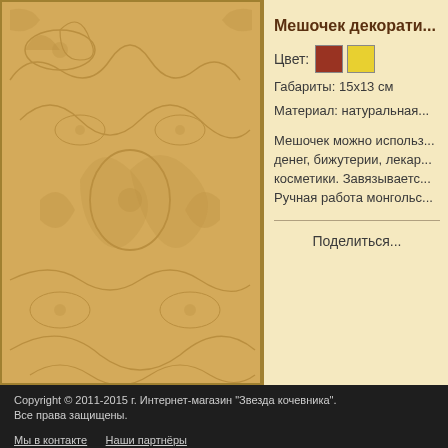[Figure (illustration): Decorative ornamental background pattern in warm golden/beige tones with scrollwork and floral motifs]
Мешочек декорати...
Цвет: [red swatch] [yellow swatch]
Габариты: 15х13 см
Материал: натуральная...
Мешочек можно использ... денег, бижутерии, лекар... косметики. Завязываетс... Ручная работа монгольс...
Поделиться...
Copyright © 2011-2015 г. Интернет-магазин "Звезда кочевника". Все права защищены.
Мы в контакте   Наши партнёры